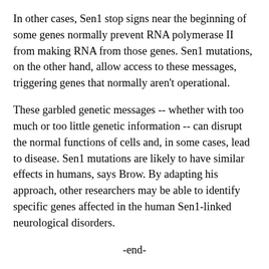In other cases, Sen1 stop signs near the beginning of some genes normally prevent RNA polymerase II from making RNA from those genes. Sen1 mutations, on the other hand, allow access to these messages, triggering genes that normally aren't operational.
These garbled genetic messages -- whether with too much or too little genetic information -- can disrupt the normal functions of cells and, in some cases, lead to disease. Sen1 mutations are likely to have similar effects in humans, says Brow. By adapting his approach, other researchers may be able to identify specific genes affected in the human Sen1-linked neurological disorders.
-end-
The new study reported in Molecular Cell was performed in collaboration with Aseem Ansari's lab in the Department of Biochemistry and was supported by grants from the National